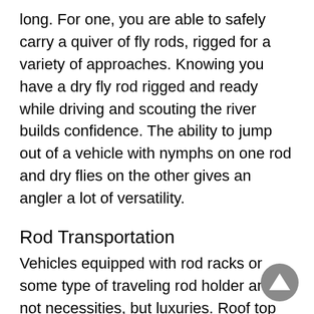long. For one, you are able to safely carry a quiver of fly rods, rigged for a variety of approaches. Knowing you have a dry fly rod rigged and ready while driving and scouting the river builds confidence. The ability to jump out of a vehicle with nymphs on one rod and dry flies on the other gives an angler a lot of versatility.
Rod Transportation
Vehicles equipped with rod racks or some type of traveling rod holder are not necessities, but luxuries. Roof top boxes can hold rods that are collapsed in half yet still rigged with flies. Giant storage tubs can hold gear and organize equipment as well as keep muddy boots and